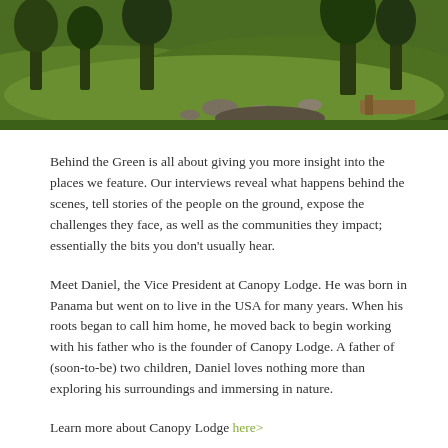[Figure (photo): Outdoor nature photo showing a lush green hillside with trees, grass, rocks, and a gravel path at the top of the page.]
Behind the Green is all about giving you more insight into the places we feature. Our interviews reveal what happens behind the scenes, tell stories of the people on the ground, expose the challenges they face, as well as the communities they impact; essentially the bits you don't usually hear.
Meet Daniel, the Vice President at Canopy Lodge. He was born in Panama but went on to live in the USA for many years. When his roots began to call him home, he moved back to begin working with his father who is the founder of Canopy Lodge. A father of (soon-to-be) two children, Daniel loves nothing more than exploring his surroundings and immersing in nature.
Learn more about Canopy Lodge here>